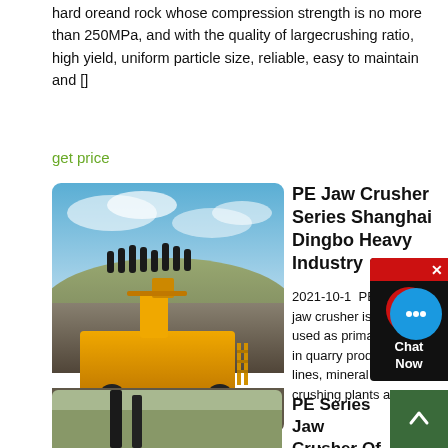hard oreand rock whose compression strength is no more than 250MPa, and with the quality of largecrushing ratio, high yield, uniform particle size, reliable, easy to maintain and []
get price
[Figure (photo): Yellow PE jaw crusher machine at a mining/quarry site with people standing on top of a rock pile, outdoors with cloudy sky]
PE Jaw Crusher Series Shanghai Dingbo Heavy Industry
2021-10-1  PE series jaw crusher is usually used as primary crusher in quarry production lines, mineral ore crushing plants and making plants. It can be described as obbligato machine in mining, building construction, construction wastes crushing, Hydropower and Water Resource, railway and highway construction and some other industries.
get price
[Figure (photo): Bottom strip showing partial image, appears to be machinery or equipment outdoors]
PE Series Jaw Crusher Of Lif...